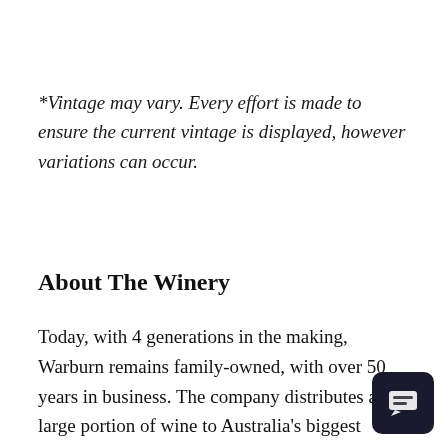*Vintage may vary. Every effort is made to ensure the current vintage is displayed, however variations can occur.
About The Winery
Today, with 4 generations in the making, Warburn remains family-owned, with over 50 years in business. The company distributes a large portion of wine to Australia's biggest retail...